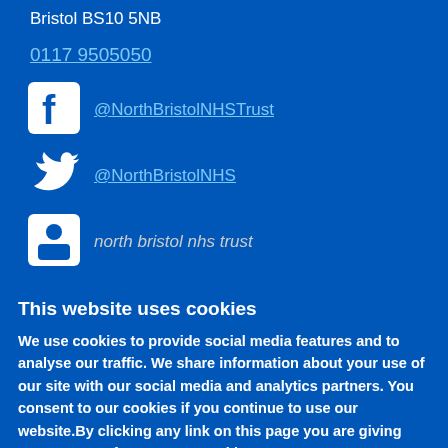Bristol BS10 5NB
0117 9505050
[Figure (logo): Facebook logo icon (white F on blue square)]
@NorthBristolNHSTrust
[Figure (logo): Twitter bird logo icon (white bird)]
@NorthBristolNHS
[Figure (logo): LinkedIn logo icon (white figure)]
north bristol nhs trust
This website uses cookies
We use cookies to provide social media features and to analyse our traffic. We share information about your use of our site with our social media and analytics partners. You consent to our cookies if you continue to use our website.By clicking any link on this page you are giving your consent for us to set cookies.
OK, I agree
No, thanks